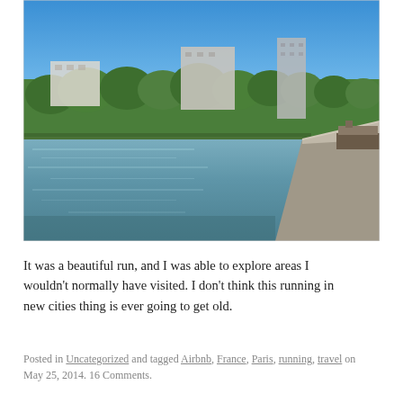[Figure (photo): A wide canal or river in Paris on a sunny day with clear blue sky. Green tree-lined bank on the left with white buildings and a tall apartment tower visible. Stone quay on the right side. Calm water reflecting the sky.]
It was a beautiful run, and I was able to explore areas I wouldn't normally have visited. I don't think this running in new cities thing is ever going to get old.
Posted in Uncategorized and tagged Airbnb, France, Paris, running, travel on May 25, 2014. 16 Comments.